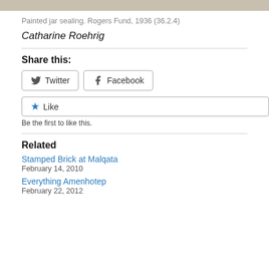[Figure (photo): Top portion of an artifact image, cropped — shows a tan/beige colored surface]
Painted jar sealing. Rogers Fund, 1936 (36.2.4)
Catharine Roehrig
Share this:
Twitter
Facebook
Like
Be the first to like this.
Related
Stamped Brick at Malqata
February 14, 2010
Everything Amenhotep
February 22, 2012